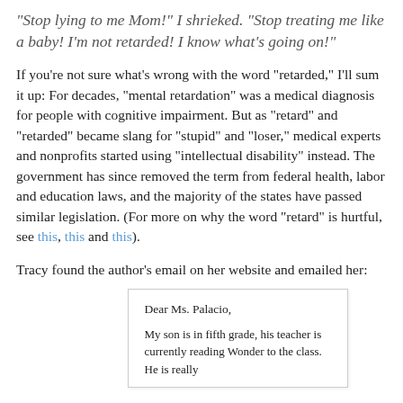"Stop lying to me Mom!" I shrieked. "Stop treating me like a baby! I'm not retarded! I know what's going on!"
If you're not sure what's wrong with the word "retarded," I'll sum it up: For decades, "mental retardation" was a medical diagnosis for people with cognitive impairment. But as "retard" and "retarded" became slang for "stupid" and "loser," medical experts and nonprofits started using "intellectual disability" instead. The government has since removed the term from federal health, labor and education laws, and the majority of the states have passed similar legislation. (For more on why the word "retard" is hurtful, see this, this and this).
Tracy found the author's email on her website and emailed her:
Dear Ms. Palacio,

My son is in fifth grade, his teacher is currently reading Wonder to the class. He is really